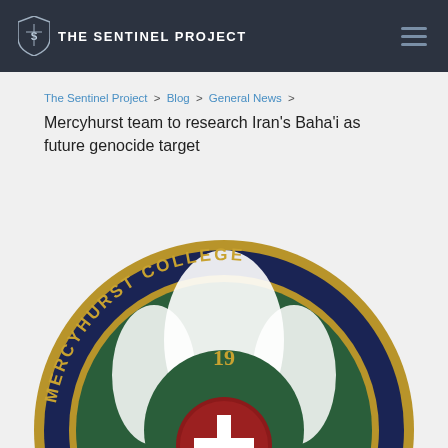THE SENTINEL PROJECT
The Sentinel Project > Blog > General News > Mercyhurst team to research Iran's Baha'i as future genocide target
[Figure (logo): Mercyhurst College circular seal/logo with dark blue background, gold lettering reading MERCYHURST COLLEGE, green inner ring with the number 19, stylized cross motif, and text Carpe Diem at the bottom]